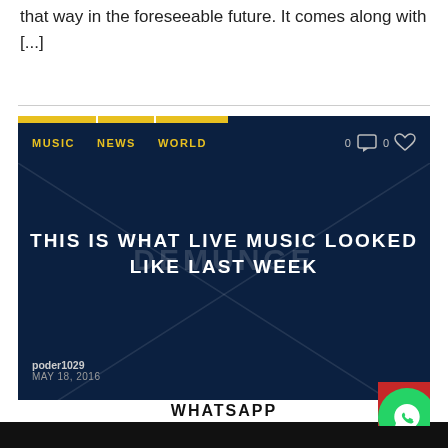that way in the foreseeable future. It comes along with [...]
[Figure (screenshot): Dark navy blue card with yellow tab navigation showing MUSIC, NEWS, WORLD tabs. Center text reads: THIS IS WHAT LIVE MUSIC LOOKED LIKE LAST WEEK. Bottom shows usuario poder1029, date MAY 18, 2016. Red hamburger menu button and green WhatsApp button on bottom right. Diagonal X pattern lines overlaid on card.]
WHATSAPP